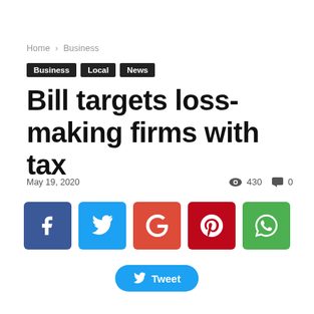Home › Business
Business
Local
News
Bill targets loss-making firms with tax
May 19, 2020  430  0
[Figure (other): Social share buttons: Facebook, Twitter, Google+, Pinterest, WhatsApp, and a Tweet button]
Tweet